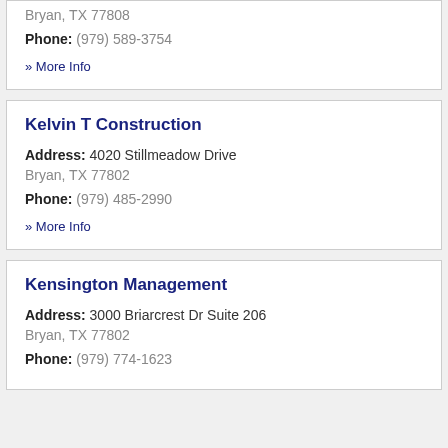Bryan, TX 77808
Phone: (979) 589-3754
» More Info
Kelvin T Construction
Address: 4020 Stillmeadow Drive Bryan, TX 77802
Phone: (979) 485-2990
» More Info
Kensington Management
Address: 3000 Briarcrest Dr Suite 206 Bryan, TX 77802
Phone: (979) 774-1623